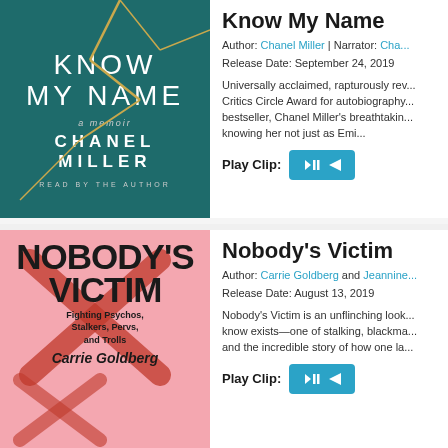[Figure (illustration): Book cover for 'Know My Name' by Chanel Miller — dark teal background with gold cracked lines, white serif text reading KNOW MY NAME, a memoir, CHANEL MILLER, READ BY THE AUTHOR]
Know My Name
Author: Chanel Miller | Narrator: Chanel Miller
Release Date: September 24, 2019
Universally acclaimed, rapturously reviewed, winner of the National Book Critics Circle Award for autobiography, and a #1 New York Times bestseller, Chanel Miller's breathtaking memoir gives readers the privilege of knowing her not just as Emi...
Play Clip:
[Figure (illustration): Book cover for 'Nobody's Victim' by Carrie Goldberg — pink background with large bold black text NOBODY'S VICTIM, pink X marks, subtitle Fighting Psychos, Stalkers, Pervs, and Trolls, author name Carrie Goldberg]
Nobody's Victim
Author: Carrie Goldberg and Jeannine Amber
Release Date: August 13, 2019
Nobody's Victim is an unflinching look at a world most of us don't know exists—one of stalking, blackmail, revenge porn, sexual violence, and the incredible story of how one la...
Play Clip: